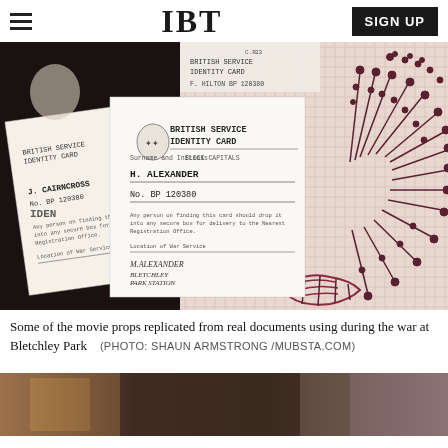IBT
[Figure (photo): Some of the movie props replicated from real documents used during the war at Bletchley Park — showing British Service Identity Cards with names H. Alexander and J. Cairncross, BP numbers, and a circular cryptographic/Enigma-related diagram on pink graph paper]
Some of the movie props replicated from real documents using during the war at Bletchley Park    (PHOTO: SHAUN ARMSTRONG /MUBSTA.COM)
[Figure (photo): A partially visible second image, appears to show a person in low light/warm toned setting]